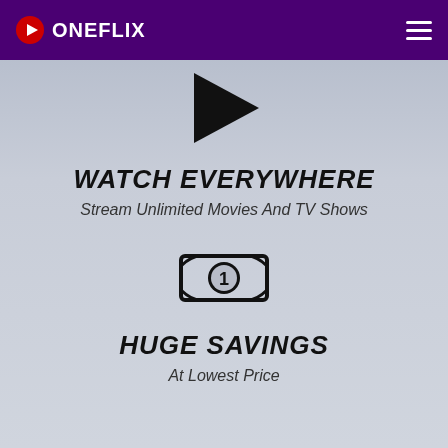ONEFLIX
[Figure (illustration): Large black play button triangle icon]
WATCH EVERYWHERE
Stream Unlimited Movies And TV Shows
[Figure (illustration): Dollar bill / money icon with number 1 in center circle]
HUGE SAVINGS
At Lowest Price